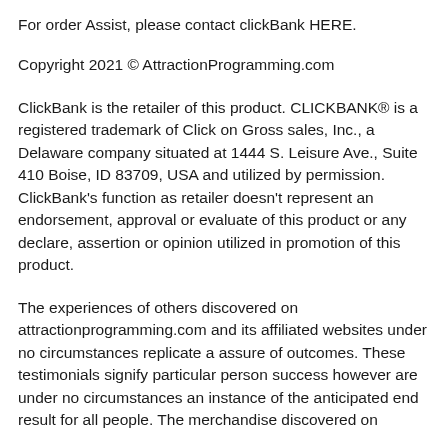For order Assist, please contact clickBank HERE.
Copyright 2021 © AttractionProgramming.com
ClickBank is the retailer of this product. CLICKBANK® is a registered trademark of Click on Gross sales, Inc., a Delaware company situated at 1444 S. Leisure Ave., Suite 410 Boise, ID 83709, USA and utilized by permission. ClickBank's function as retailer doesn't represent an endorsement, approval or evaluate of this product or any declare, assertion or opinion utilized in promotion of this product.
The experiences of others discovered on attractionprogramming.com and its affiliated websites under no circumstances replicate a assure of outcomes. These testimonials signify particular person success however are under no circumstances an instance of the anticipated end result for all people. The merchandise discovered on